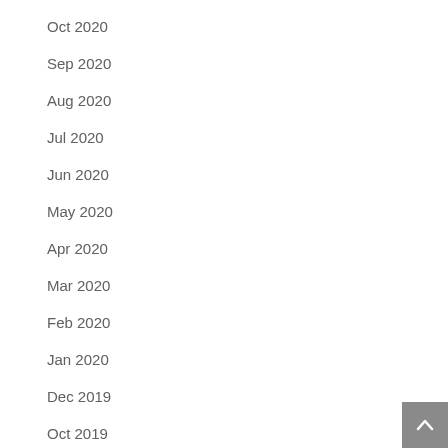Oct 2020
Sep 2020
Aug 2020
Jul 2020
Jun 2020
May 2020
Apr 2020
Mar 2020
Feb 2020
Jan 2020
Dec 2019
Oct 2019
Sep 2019
Aug 2019
Jul 2019